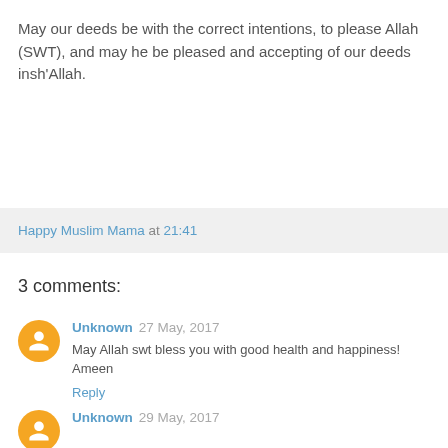May our deeds be with the correct intentions, to please Allah (SWT), and may he be pleased and accepting of our deeds insh'Allah.
Happy Muslim Mama at 21:41
3 comments:
Unknown 27 May, 2017
May Allah swt bless you with good health and happiness! Ameen
Reply
Unknown 29 May, 2017